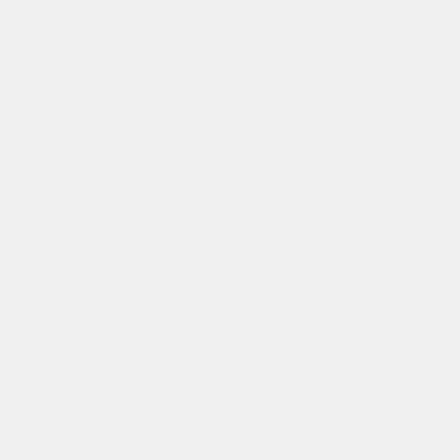[Figure (flowchart): Partial flowchart showing stacked boxes connected by plus signs. Top box (partially cut off) contains 'through its genes expression activity'. Middle empty box. Bottom large box contains 'Description : Label Pseudomonas aeruginosa gene expression data through unsupervised learning (eg., EM algorithm) and then model the bacterial state as function of its genes expression'. Plus signs connect the boxes vertically.]